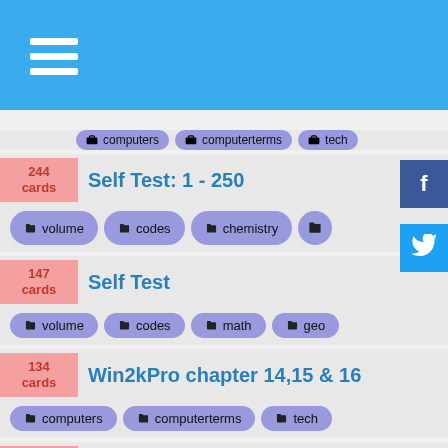Navigation header with hamburger menu
244 cards - Self Test: 1 - 250 | tags: volume, codes, chemistry
147 cards - Self Test | tags: volume, codes, math, geo
134 cards - Win2kPro chapter 14,15 &amp; 16 | tags: computers, computerterms, tech
114 cards - Unit 3-1 | tags: aviation, volume, codes
131 cards - Win2KServer 4-6 | tags: computers, computerterms, tech
95 cards - Art History 181 with John Cunnally Exam | tags: arthistory, history, french
250 cards - BARRON SET#4